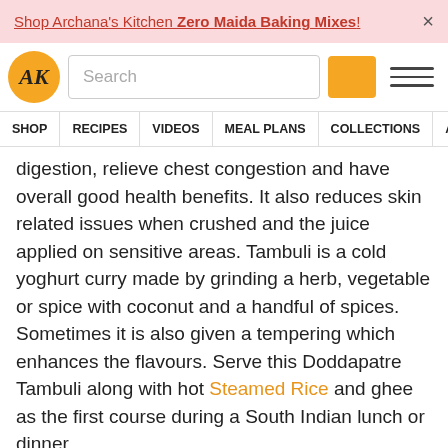Shop Archana's Kitchen Zero Maida Baking Mixes! ×
[Figure (logo): Archana's Kitchen logo - orange circle with AK text]
digestion, relieve chest congestion and have overall good health benefits. It also reduces skin related issues when crushed and the juice applied on sensitive areas. Tambuli is a cold yoghurt curry made by grinding a herb, vegetable or spice with coconut and a handful of spices. Sometimes it is also given a tempering which enhances the flavours. Serve this Doddapatre Tambuli along with hot Steamed Rice and ghee as the first course during a South Indian lunch or dinner.
You can also try some other soothing yoghurt-